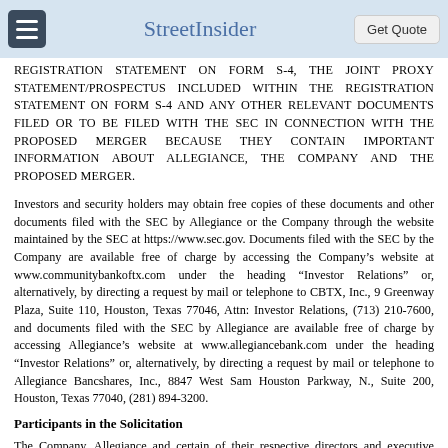StreetInsider
REGISTRATION STATEMENT ON FORM S-4, THE JOINT PROXY STATEMENT/PROSPECTUS INCLUDED WITHIN THE REGISTRATION STATEMENT ON FORM S-4 AND ANY OTHER RELEVANT DOCUMENTS FILED OR TO BE FILED WITH THE SEC IN CONNECTION WITH THE PROPOSED MERGER BECAUSE THEY CONTAIN IMPORTANT INFORMATION ABOUT ALLEGIANCE, THE COMPANY AND THE PROPOSED MERGER.
Investors and security holders may obtain free copies of these documents and other documents filed with the SEC by Allegiance or the Company through the website maintained by the SEC at https://www.sec.gov. Documents filed with the SEC by the Company are available free of charge by accessing the Company's website at www.communitybankoftx.com under the heading “Investor Relations” or, alternatively, by directing a request by mail or telephone to CBTX, Inc., 9 Greenway Plaza, Suite 110, Houston, Texas 77046, Attn: Investor Relations, (713) 210-7600, and documents filed with the SEC by Allegiance are available free of charge by accessing Allegiance’s website at www.allegiancebank.com under the heading “Investor Relations” or, alternatively, by directing a request by mail or telephone to Allegiance Bancshares, Inc., 8847 West Sam Houston Parkway, N., Suite 200, Houston, Texas 77040, (281) 894-3200.
Participants in the Solicitation
The Company, Allegiance and certain of their respective directors and executive officers may be deemed to be participants in the solicitation of proxies from the shareholders of the Company and Allegiance in connection with the proposed merger.